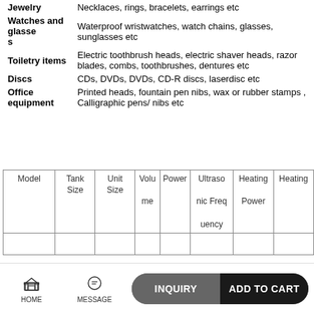| Category | Description |
| --- | --- |
| Jewelry | Necklaces, rings, bracelets, earrings etc |
| Watches and glasses | Waterproof wristwatches, watch chains, glasses, sunglasses etc |
| Toiletry items | Electric toothbrush heads, electric shaver heads, razor blades, combs, toothbrushes, dentures etc |
| Discs | CDs, DVDs, DVDs, CD-R discs, laserdisc etc |
| Office equipment | Printed heads, fountain pen nibs, wax or rubber stamps , Calligraphic pens/ nibs etc |
| Model | Tank Size | Unit Size | Volume | Power | Ultrasonic Frequency | Heating Power | Heating |
| --- | --- | --- | --- | --- | --- | --- | --- |
[Figure (screenshot): Mobile app footer bar with HOME icon, MESSAGE icon, INQUIRY button, and ADD TO CART button]